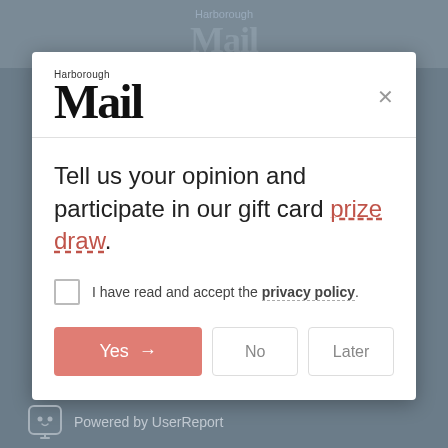[Figure (logo): Harborough Mail logo in modal header]
Tell us your opinion and participate in our gift card prize draw.
I have read and accept the privacy policy.
Yes → No Later
Powered by UserReport